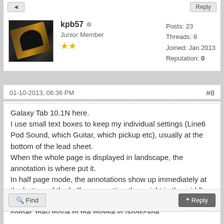[Figure (photo): Guitar headstock photo used as user avatar for kpb57]
kpb57
Junior Member
★★
Posts: 23
Threads: 8
Joined: Jan 2013
Reputation: 0
01-10-2013, 06:36 PM
#8
Galaxy Tab 10.1N here.
I use small text boxes to keep my individual settings (Line6 Pod Sound, which Guitar, which pickup etc), usually at the bottom of the lead sheet.
When the whole page is displayed in landscape, the annotation is where put it.
In half page mode, the annotations show up immediately at the bottom of the half page, putting them right in the middle of text; if I place them (in portrait mode) in the right upper corner, they move to the middle in landscape.
Find
Reply